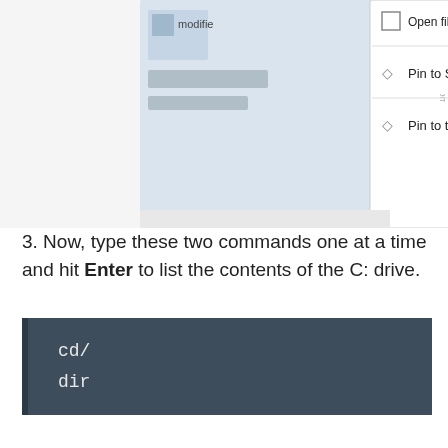[Figure (screenshot): Windows right-click context menu showing options: Open file location, Pin to Start, Pin to taskbar. A file icon with 'modifie...' text is visible on the left side. A watermark 'xpage.com' appears rotated on the right edge.]
3. Now, type these two commands one at a time and hit Enter to list the contents of the C: drive.
cd/
dir